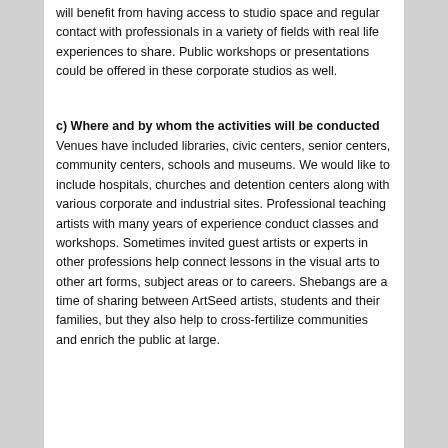will benefit from having access to studio space and regular contact with professionals in a variety of fields with real life experiences to share. Public workshops or presentations could be offered in these corporate studios as well.
c) Where and by whom the activities will be conducted
Venues have included libraries, civic centers, senior centers, community centers, schools and museums. We would like to include hospitals, churches and detention centers along with various corporate and industrial sites. Professional teaching artists with many years of experience conduct classes and workshops. Sometimes invited guest artists or experts in other professions help connect lessons in the visual arts to other art forms, subject areas or to careers. Shebangs are a time of sharing between ArtSeed artists, students and their families, but they also help to cross-fertilize communities and enrich the public at large.